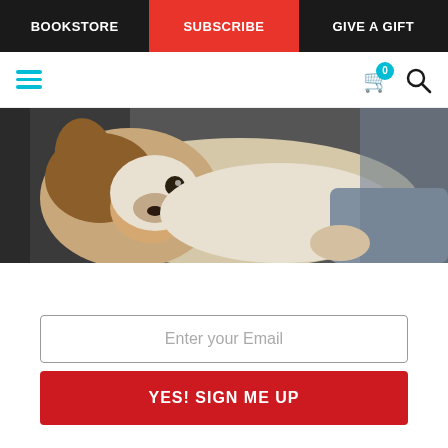BOOKSTORE | SUBSCRIBE | GIVE A GIFT
[Figure (screenshot): Secondary navigation bar with hamburger menu icon in teal on the left and cart with badge '0' and search icon on the right]
[Figure (photo): A Jack Russell Terrier dog lying on a gray couch, looking at the camera with brown and white markings]
Enter your Email
YES! SIGN ME UP